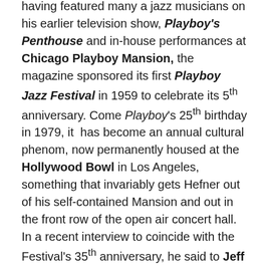having featured many a jazz musicians on his earlier television show, Playboy's Penthouse and in-house performances at Chicago Playboy Mansion, the magazine sponsored its first Playboy Jazz Festival in 1959 to celebrate its 5th anniversary. Come Playboy's 25th birthday in 1979, it has become an annual cultural phenom, now permanently housed at the Hollywood Bowl in Los Angeles, something that invariably gets Hefner out of his self-contained Mansion and out in the front row of the open air concert hall. In a recent interview to coincide with the Festival's 35th anniversary, he said to Jeff Weiss of Bizarre Ride blog: "I would hope my championing of jazz will be remembered in a connective way with what's unique about Playboy and my own legacy. As a musical form, jazz represents the same liberation and freedom that America represents in its most ideal form."